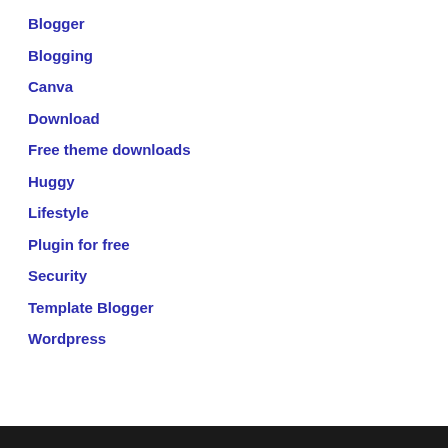Blogger
Blogging
Canva
Download
Free theme downloads
Huggy
Lifestyle
Plugin for free
Security
Template Blogger
Wordpress